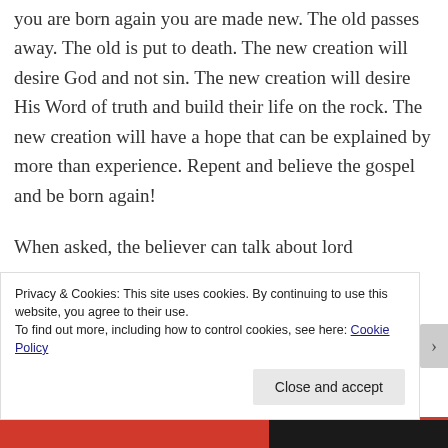you are born again you are made new. The old passes away. The old is put to death. The new creation will desire God and not sin. The new creation will desire His Word of truth and build their life on the rock. The new creation will have a hope that can be explained by more than experience. Repent and believe the gospel and be born again!
When asked, the believer can talk about lord
Privacy & Cookies: This site uses cookies. By continuing to use this website, you agree to their use.
To find out more, including how to control cookies, see here: Cookie Policy